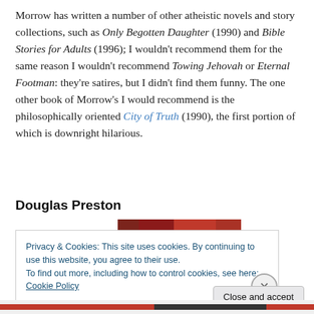Morrow has written a number of other atheistic novels and story collections, such as Only Begotten Daughter (1990) and Bible Stories for Adults (1996); I wouldn't recommend them for the same reason I wouldn't recommend Towing Jehovah or Eternal Footman: they're satires, but I didn't find them funny. The one other book of Morrow's I would recommend is the philosophically oriented City of Truth (1990), the first portion of which is downright hilarious.
Douglas Preston
[Figure (photo): Partial book cover image showing dark red/black tones]
Privacy & Cookies: This site uses cookies. By continuing to use this website, you agree to their use.
To find out more, including how to control cookies, see here: Cookie Policy